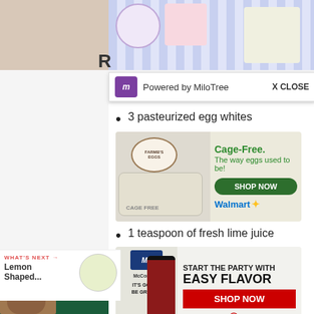[Figure (photo): Top banner with multiple party/food photos in a strip]
R
[Figure (other): MiloTree popup bar with purple scorpio icon, 'Powered by MiloTree' text and X CLOSE button]
3 pasteurized egg whites
[Figure (other): Cage-Free egg advertisement with farm logo, egg carton, 'Cage-Free. The way eggs used to be!' text, SHOP NOW green button and Walmart logo]
1 teaspoon of fresh lime juice
[Figure (other): McCormick spice advertisement with bottle, 'START THE PARTY WITH EASY FLAVOR', SHOP NOW red button, Safeway logo]
low gel food coloring
[Figure (other): WHAT'S NEXT promo: Lemon Shaped... with circular food image]
[Figure (other): Make Recipe purple button]
[Figure (other): HEAD OVER HEELS advertisement banner with dog photo and dark green background]